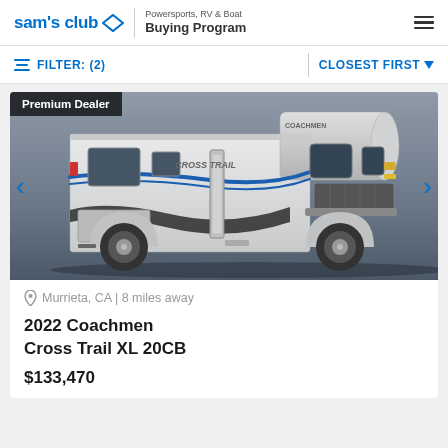sam's club — Powersports, RV & Boat Buying Program
FILTER: (2)   CLOSEST FIRST
[Figure (photo): White Coachmen Cross Trail XL 20CB Class C motorhome RV, side/front 3/4 view on gray background, with Premium Dealer badge overlay]
Murrieta, CA | 8 miles away
2022 Coachmen Cross Trail XL 20CB
$133,470